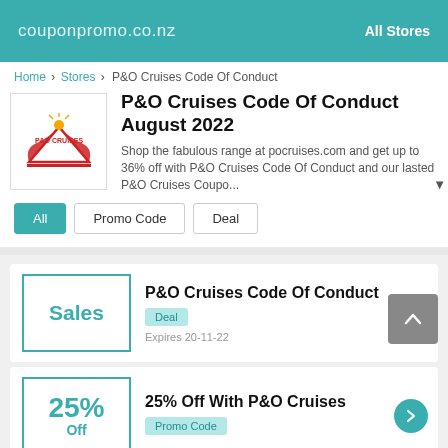couponpromo.co.nz   All Stores
Home > Stores > P&O Cruises Code Of Conduct
P&O Cruises Code Of Conduct August 2022
Shop the fabulous range at pocruises.com and get up to 36% off with P&O Cruises Code Of Conduct and our lasted P&O Cruises Coupo...
All   Promo Code   Deal
P&O Cruises Code Of Conduct
Deal
Expires 20-11-22
25% Off With P&O Cruises
Promo Code